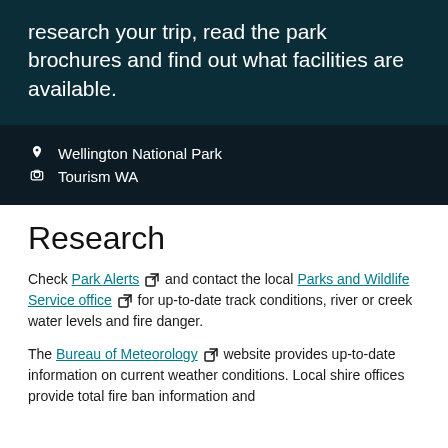research your trip, read the park brochures and find out what facilities are available.
Wellington National Park
Tourism WA
Research
Check Park Alerts and contact the local Parks and Wildlife Service office for up-to-date track conditions, river or creek water levels and fire danger.
The Bureau of Meteorology website provides up-to-date information on current weather conditions. Local shire offices provide total fire ban information and